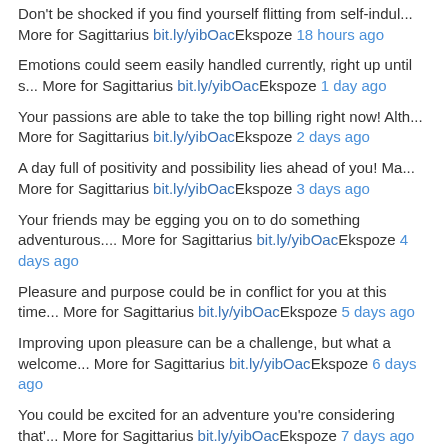Don't be shocked if you find yourself flitting from self-indul... More for Sagittarius bit.ly/yibOacEkspoze 18 hours ago
Emotions could seem easily handled currently, right up until s... More for Sagittarius bit.ly/yibOacEkspoze 1 day ago
Your passions are able to take the top billing right now! Alth... More for Sagittarius bit.ly/yibOacEkspoze 2 days ago
A day full of positivity and possibility lies ahead of you! Ma... More for Sagittarius bit.ly/yibOacEkspoze 3 days ago
Your friends may be egging you on to do something adventurous.... More for Sagittarius bit.ly/yibOacEkspoze 4 days ago
Pleasure and purpose could be in conflict for you at this time... More for Sagittarius bit.ly/yibOacEkspoze 5 days ago
Improving upon pleasure can be a challenge, but what a welcome... More for Sagittarius bit.ly/yibOacEkspoze 6 days ago
You could be excited for an adventure you're considering that'... More for Sagittarius bit.ly/yibOacEkspoze 7 days ago